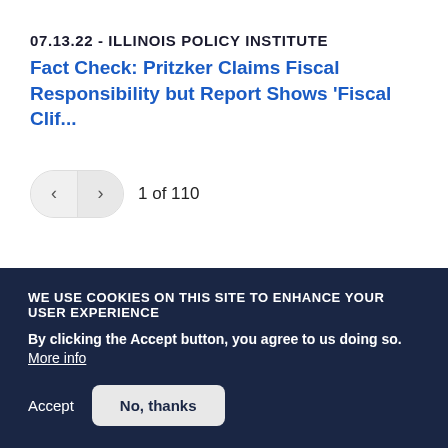07.13.22 - ILLINOIS POLICY INSTITUTE
Fact Check: Pritzker Claims Fiscal Responsibility but Report Shows ‘Fiscal Clif…
1 of 110
WE USE COOKIES ON THIS SITE TO ENHANCE YOUR USER EXPERIENCE
By clicking the Accept button, you agree to us doing so. More info
Accept
No, thanks